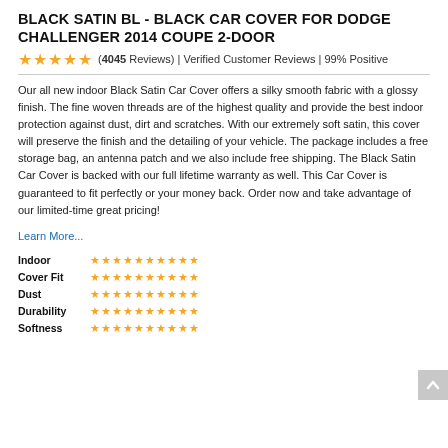BLACK SATIN BL - BLACK CAR COVER FOR DODGE CHALLENGER 2014 COUPE 2-DOOR
(4045 Reviews) | Verified Customer Reviews | 99% Positive
Our all new indoor Black Satin Car Cover offers a silky smooth fabric with a glossy finish. The fine woven threads are of the highest quality and provide the best indoor protection against dust, dirt and scratches. With our extremely soft satin, this cover will preserve the finish and the detailing of your vehicle. The package includes a free storage bag, an antenna patch and we also include free shipping. The Black Satin Car Cover is backed with our full lifetime warranty as well. This Car Cover is guaranteed to fit perfectly or your money back. Order now and take advantage of our limited-time great pricing!
Learn More...
| Category | Rating |
| --- | --- |
| Indoor | 10 stars |
| Cover Fit | 10 stars |
| Dust | 10 stars |
| Durability | 10 stars |
| Softness | 10 stars |